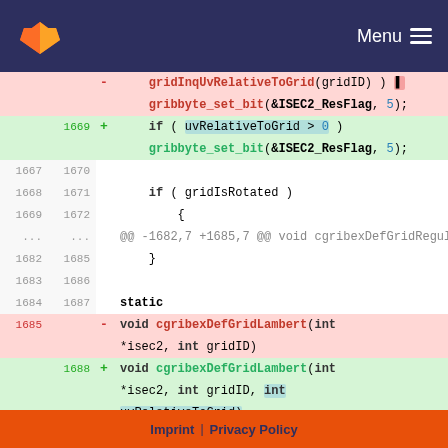GitLab — Menu
[Figure (screenshot): Code diff view showing changes to cgribexDefGridLambert function, adding uvRelativeToGrid parameter. Diff lines with line numbers, added/removed code highlighted.]
Imprint | Privacy Policy